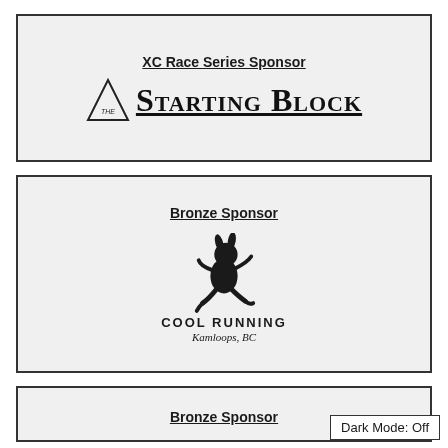XC Race Series Sponsor
[Figure (logo): The Starting Block logo: a triangle with 'THE' inside and 'STARTING BLOCK' in large small-caps serif text with underline]
Bronze Sponsor
[Figure (logo): Cool Running logo: cartoon running rabbit figure above text 'COOL RUNNING' and 'Kamloops, BC']
Bronze Sponsor